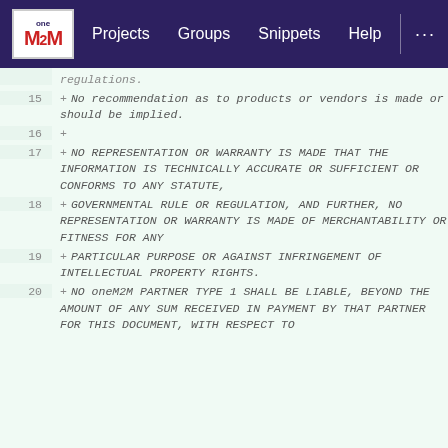oneM2M  Projects  Groups  Snippets  Help  ...
regulations.
15  + No recommendation as to products or vendors is made or should be implied.
16  +
17  + NO REPRESENTATION OR WARRANTY IS MADE THAT THE INFORMATION IS TECHNICALLY ACCURATE OR SUFFICIENT OR CONFORMS TO ANY STATUTE,
18  + GOVERNMENTAL RULE OR REGULATION, AND FURTHER, NO REPRESENTATION OR WARRANTY IS MADE OF MERCHANTABILITY OR FITNESS FOR ANY
19  + PARTICULAR PURPOSE OR AGAINST INFRINGEMENT OF INTELLECTUAL PROPERTY RIGHTS.
20  + NO oneM2M PARTNER TYPE 1 SHALL BE LIABLE, BEYOND THE AMOUNT OF ANY SUM RECEIVED IN PAYMENT BY THAT PARTNER FOR THIS DOCUMENT, WITH RESPECT TO